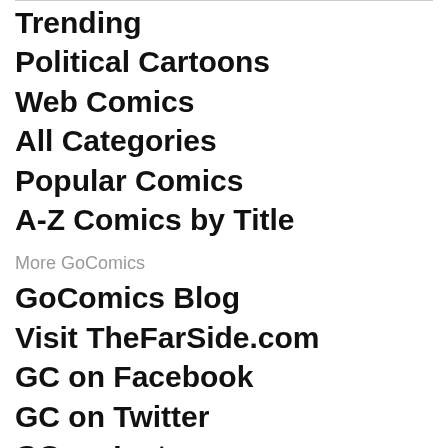Trending
Political Cartoons
Web Comics
All Categories
Popular Comics
A-Z Comics by Title
More GoComics
GoComics Blog
Visit TheFarSide.com
GC on Facebook
GC on Twitter
GC on Instagram
Shop
Account
Free Trial